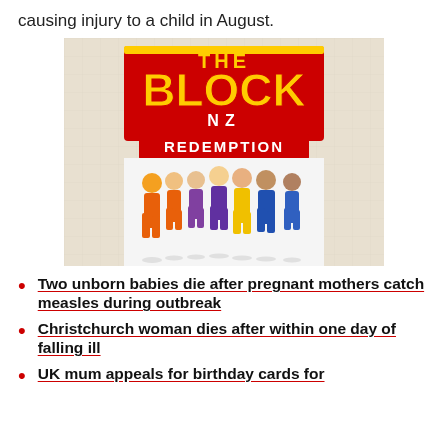causing injury to a child in August.
[Figure (photo): Promotional image for 'The Block NZ Redemption' TV show, showing the logo with yellow and red text and a group of contestants in colorful workwear running toward the camera.]
Two unborn babies die after pregnant mothers catch measles during outbreak
Christchurch woman dies after within one day of falling ill
UK mum appeals for birthday cards for